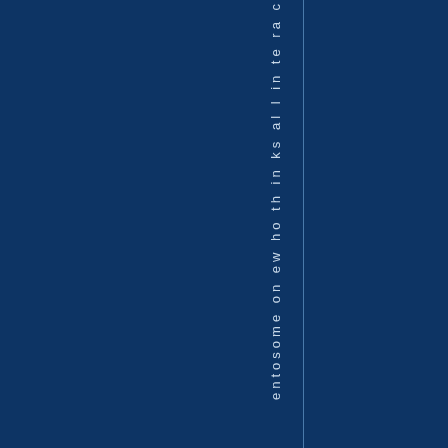[Figure (other): Dark navy blue background page with a vertical line and vertically oriented text reading 'ent to someone who thinks all interac' running from top to bottom along a thin column near the center-right of the page.]